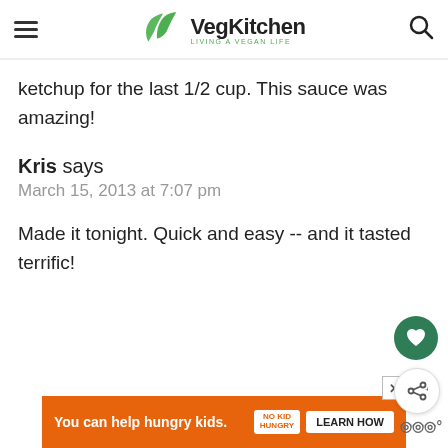VegKitchen – LIVING A VEGAN LIFE
ketchup for the last 1/2 cup. This sauce was amazing!
Kris says
March 15, 2013 at 7:07 pm
Made it tonight. Quick and easy -- and it tasted terrific!
[Figure (infographic): Orange ad banner: 'You can help hungry kids.' with No Kid Hungry logo and LEARN HOW button]